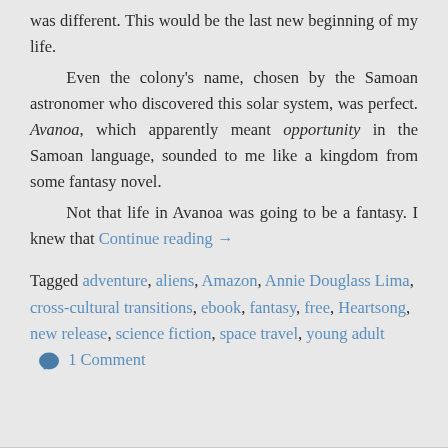was different. This would be the last new beginning of my life.
    Even the colony's name, chosen by the Samoan astronomer who discovered this solar system, was perfect. Avanoa, which apparently meant opportunity in the Samoan language, sounded to me like a kingdom from some fantasy novel.
    Not that life in Avanoa was going to be a fantasy. I knew that Continue reading →
Tagged adventure, aliens, Amazon, Annie Douglass Lima, cross-cultural transitions, ebook, fantasy, free, Heartsong, new release, science fiction, space travel, young adult   1 Comment